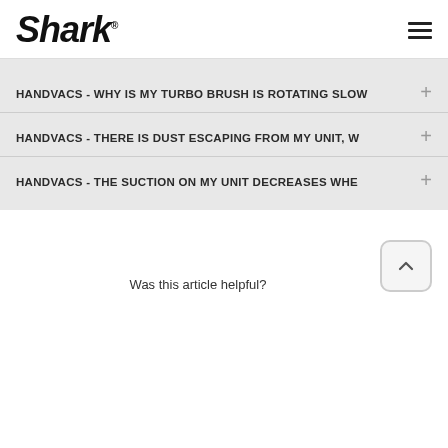Shark
HANDVACS - WHY IS MY TURBO BRUSH IS ROTATING SLOW
HANDVACS - THERE IS DUST ESCAPING FROM MY UNIT, W
HANDVACS - THE SUCTION ON MY UNIT DECREASES WHE
Was this article helpful?